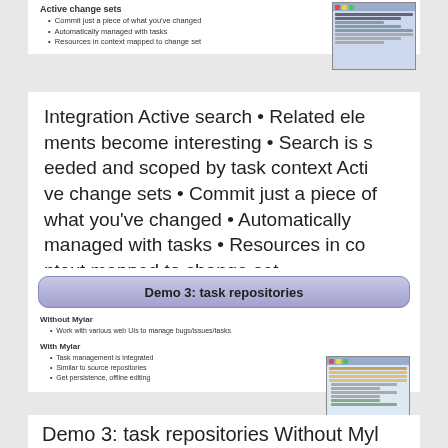Active change sets
Commit just a piece of what you've changed
Automatically managed with tasks
Resources in context mapped to change set
[Figure (screenshot): Screenshot of Eclipse IDE showing change sets panel]
Integration Active search • Related elements become interesting • Search is seeded and scoped by task context Active change sets • Commit just a piece of what you've changed • Automatically managed with tasks • Resources in context mapped to change set
[Figure (screenshot): Slide showing Demo 3: task repositories with Without Mylar and With Mylar sections]
Demo 3: task repositories Without Myl